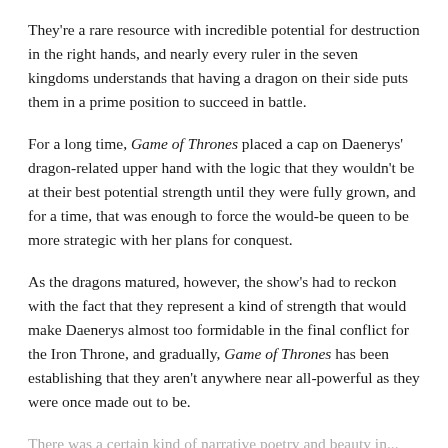They're a rare resource with incredible potential for destruction in the right hands, and nearly every ruler in the seven kingdoms understands that having a dragon on their side puts them in a prime position to succeed in battle.
For a long time, Game of Thrones placed a cap on Daenerys' dragon-related upper hand with the logic that they wouldn't be at their best potential strength until they were fully grown, and for a time, that was enough to force the would-be queen to be more strategic with her plans for conquest.
As the dragons matured, however, the show's had to reckon with the fact that they represent a kind of strength that would make Daenerys almost too formidable in the final conflict for the Iron Throne, and gradually, Game of Thrones has been establishing that they aren't anywhere near all-powerful as they were once made out to be.
There was a certain kind of narrative poetry and beauty in...